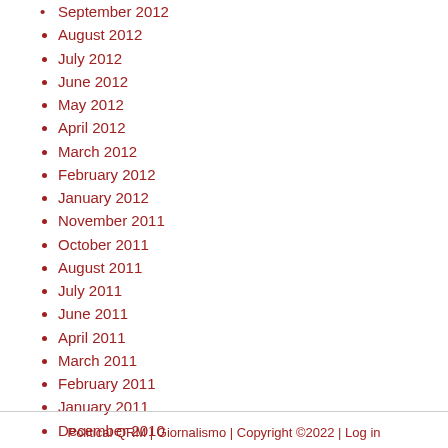September 2012
August 2012
July 2012
June 2012
May 2012
April 2012
March 2012
February 2012
January 2012
November 2011
October 2011
August 2011
July 2011
June 2011
April 2011
March 2011
February 2011
January 2011
December 2010
November 2010
October 2010
September 2010
February 2010
Political QRM | Giornalismo | Copyright ©2022 | Log in